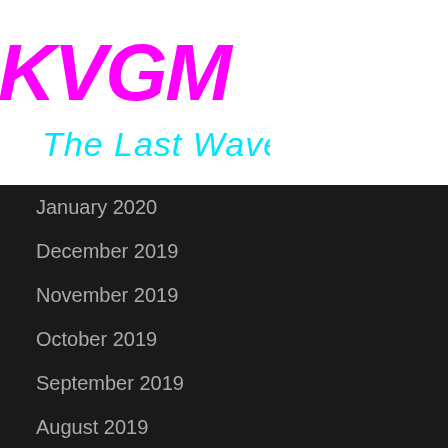[Figure (logo): KVGM The Last Wave logo — KVGM in bold magenta italic letters with cyan cursive 'The Last Wave' subtitle]
January 2020
December 2019
November 2019
October 2019
September 2019
August 2019
July 2019
June 2019
May 2019
April 2019
March 2019